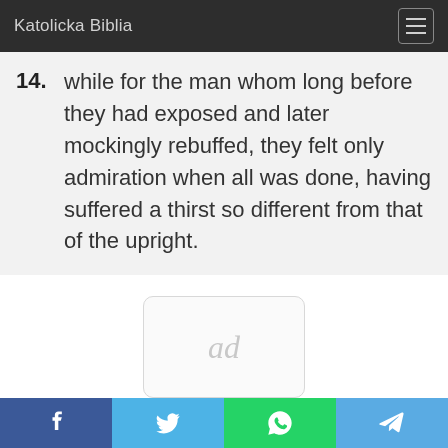Katolicka Biblia
14. while for the man whom long before they had exposed and later mockingly rebuffed, they felt only admiration when all was done, having suffered a thirst so different from that of the upright.
[Figure (other): Advertisement placeholder with 'ad' text in a rounded rectangle]
Social sharing bar: Facebook, Twitter, WhatsApp, Telegram